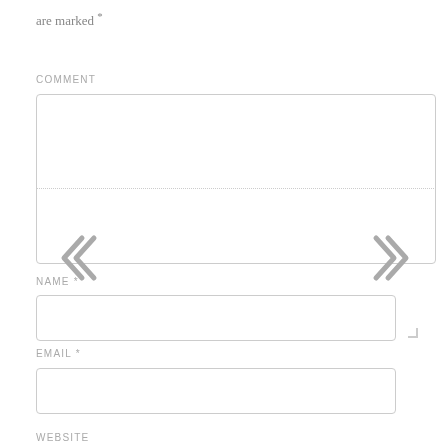are marked *
COMMENT
[Figure (other): Comment textarea form field with dotted horizontal divider line and resize handle]
[Figure (other): Left double chevron arrow (<<) navigation icon in gray]
[Figure (other): Right double chevron arrow (>>) navigation icon in gray]
NAME *
[Figure (other): Name input text field]
EMAIL *
[Figure (other): Email input text field]
WEBSITE